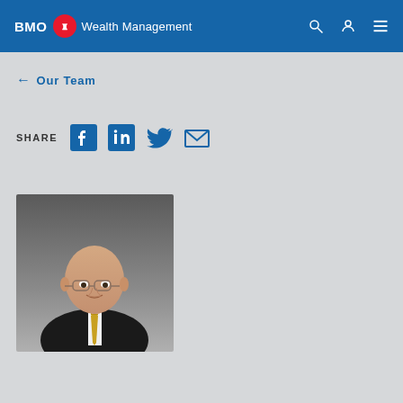BMO Wealth Management
← Our Team
SHARE
[Figure (photo): Professional headshot of a bald man wearing glasses, a dark suit jacket, white dress shirt, and gold patterned tie, photographed against a grey gradient background]